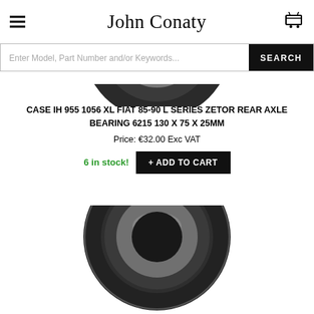[Figure (photo): Close-up photo of a round rear axle bearing (top portion), dark metallic ring with inner silver ring, partially cropped at top of page]
John Conaty
Enter Model, Part Number and/or Keywords... SEARCH
CASE IH 955 1056 XL FIAT 85-90 L SERIES ZETOR REAR AXLE BEARING 6215 130 X 75 X 25MM
Price: €32.00 Exc VAT
6 in stock! + ADD TO CART
[Figure (photo): Close-up photo of a round rear axle bearing (bottom), dark metallic ring with inner silver ring, partially cropped at bottom of page]